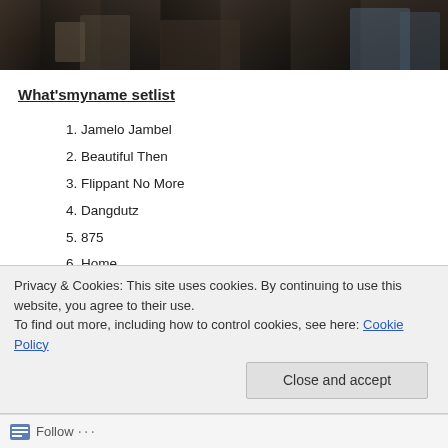[Figure (photo): Dark photo strip showing partial figures/legs against a dark background, appearing to be a concert or performance scene]
What'smyname setlist
1. Jamelo Jambel
2. Beautiful Then
3. Flippant No More
4. Dangdutz
5. 875
6. Home
7. Chop Suey
8. Stick Tight
9. Cut This Shit. Start The Pit
Privacy & Cookies: This site uses cookies. By continuing to use this website, you agree to their use. To find out more, including how to control cookies, see here: Cookie Policy
Close and accept
Follow